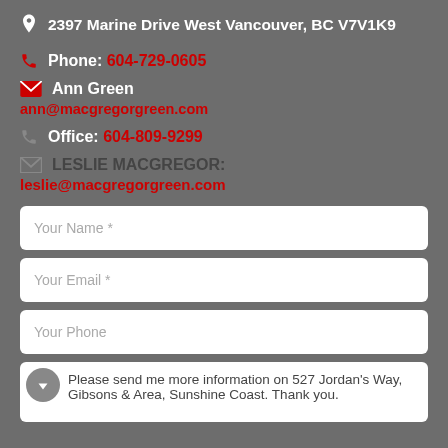2397 Marine Drive West Vancouver, BC V7V1K9
Phone: 604-729-0605
Ann Green
ann@macgregorgreen.com
Office: 604-809-9299
LESLIE MACGREGOR:
leslie@macgregorgreen.com
Your Name *
Your Email *
Your Phone
Please send me more information on 527 Jordan's Way, Gibsons & Area, Sunshine Coast. Thank you.